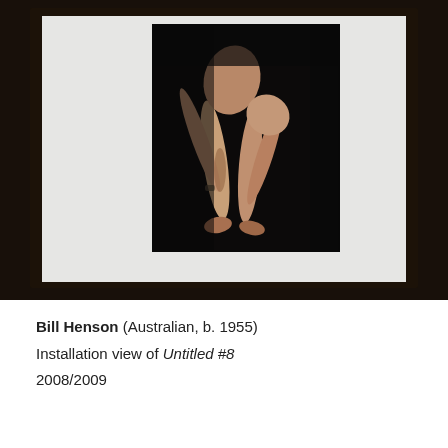[Figure (photo): Installation view of a framed photograph by Bill Henson showing a contorted human figure with legs and arms visible against a dark background, displayed in a dark wooden frame with white mat.]
Bill Henson (Australian, b. 1955)
Installation view of Untitled #8
2008/2009